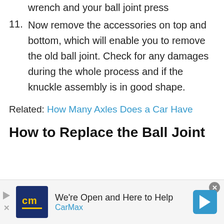wrench and your ball joint press
11. Now remove the accessories on top and bottom, which will enable you to remove the old ball joint. Check for any damages during the whole process and if the knuckle assembly is in good shape.
Related: How Many Axles Does a Car Have
How to Replace the Ball Joint